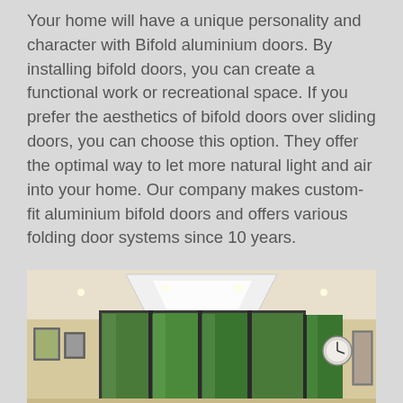Your home will have a unique personality and character with Bifold aluminium doors. By installing bifold doors, you can create a functional work or recreational space. If you prefer the aesthetics of bifold doors over sliding doors, you can choose this option. They offer the optimal way to let more natural light and air into your home. Our company makes custom-fit aluminium bifold doors and offers various folding door systems since 10 years.
[Figure (photo): Interior room photo showing large dark-framed bifold/sliding doors and windows with a view of green trees outside. The room has a white ceiling with a large skylight, cream/beige walls, recessed lighting, and a clock visible on the right wall. Framed pictures are visible on the left wall.]